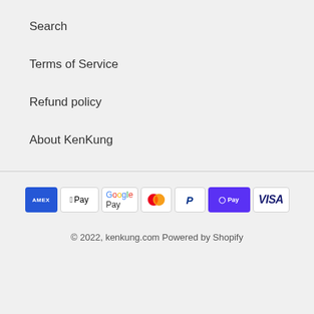Search
Terms of Service
Refund policy
About KenKung
[Figure (infographic): Payment method icons: American Express, Apple Pay, Google Pay, Mastercard, PayPal, Shop Pay, Visa]
© 2022, kenkung.com Powered by Shopify